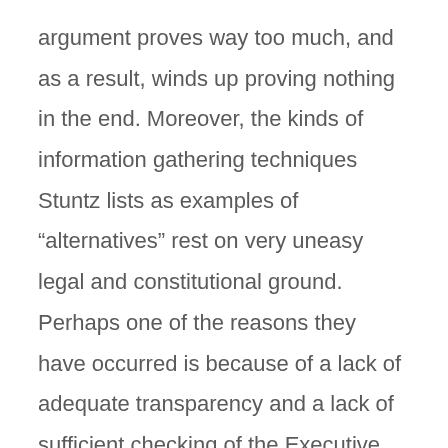argument proves way too much, and as a result, winds up proving nothing in the end. Moreover, the kinds of information gathering techniques Stuntz lists as examples of “alternatives” rest on very uneasy legal and constitutional ground. Perhaps one of the reasons they have occurred is because of a lack of adequate transparency and a lack of sufficient checking of the Executive Branch. But